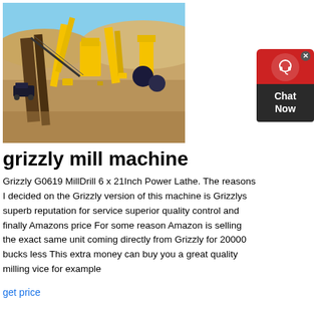[Figure (photo): Aerial/ground view of a mining or quarrying facility with yellow industrial equipment, conveyor belts, and machinery set in a sandy desert environment with blue sky.]
grizzly mill machine
Grizzly G0619 MillDrill 6 x 21Inch Power Lathe. The reasons I decided on the Grizzly version of this machine is Grizzlys superb reputation for service superior quality control and finally Amazons price For some reason Amazon is selling the exact same unit coming directly from Grizzly for 20000 bucks less This extra money can buy you a great quality milling vice for example
get price